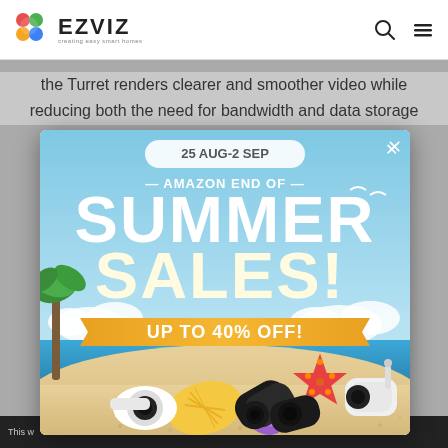EZVIZ — creating easy smart homes
the Turret renders clearer and smoother video while reducing both the need for bandwidth and data storage
[Figure (illustration): EZVIZ Amazon End of Summer Sales popup advertisement banner. Sky blue background with beach scene. Text reads: 25 AUG-2 SEP — AMAZON END OF — SUMMER SALES! UP TO 40% OFF! Beach scene with EZVIZ security cameras, seashells, starfish, and palm trees at the bottom.]
This w... we can